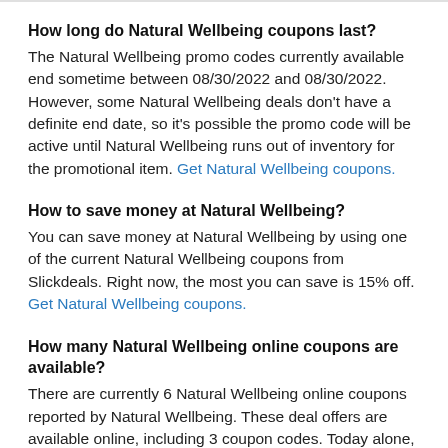How long do Natural Wellbeing coupons last?
The Natural Wellbeing promo codes currently available end sometime between 08/30/2022 and 08/30/2022. However, some Natural Wellbeing deals don't have a definite end date, so it's possible the promo code will be active until Natural Wellbeing runs out of inventory for the promotional item. Get Natural Wellbeing coupons.
How to save money at Natural Wellbeing?
You can save money at Natural Wellbeing by using one of the current Natural Wellbeing coupons from Slickdeals. Right now, the most you can save is 15% off. Get Natural Wellbeing coupons.
How many Natural Wellbeing online coupons are available?
There are currently 6 Natural Wellbeing online coupons reported by Natural Wellbeing. These deal offers are available online, including 3 coupon codes. Today alone, users have collectively cashed in on 556 offers. Get Natural Wellbeing coupons.